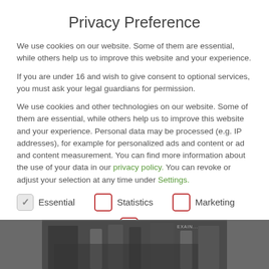Privacy Preference
We use cookies on our website. Some of them are essential, while others help us to improve this website and your experience.
If you are under 16 and wish to give consent to optional services, you must ask your legal guardians for permission.
We use cookies and other technologies on our website. Some of them are essential, while others help us to improve this website and your experience. Personal data may be processed (e.g. IP addresses), for example for personalized ads and content or ad and content measurement. You can find more information about the use of your data in our privacy policy. You can revoke or adjust your selection at any time under Settings.
Essential (checked)
Statistics (unchecked)
Marketing (unchecked)
External media (unchecked)
[Figure (photo): Dark background photo strip showing gymnasium or fitness equipment, partially visible at bottom of page]